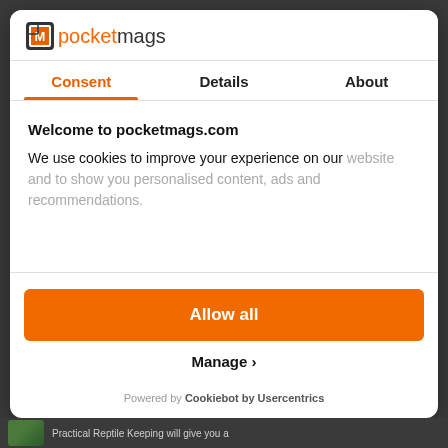[Figure (logo): Pocketmags logo with magazine icon and orange 'pocket' text followed by black 'mags' text]
Consent | Details | About
Welcome to pocketmags.com
We use cookies to improve your experience on our website and to show you personalised content, ads and recommendations.
Allow all
Manage >
Powered by Cookiebot by Usercentrics
Practical Reptile Keeping will give you a